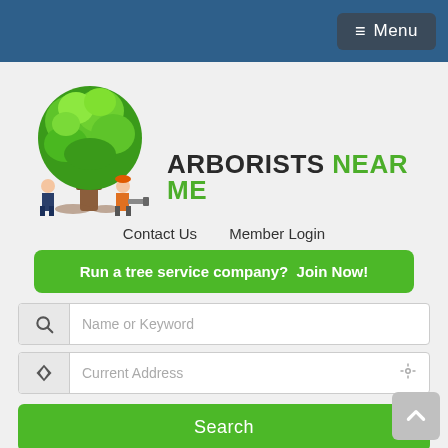Menu
[Figure (logo): Arborists Near Me logo with a green tree and two figures (arborist and customer) beside it, with text ARBORISTS NEAR ME]
Contact Us   Member Login
Run a tree service company?  Join Now!
Name or Keyword
Current Address
Search